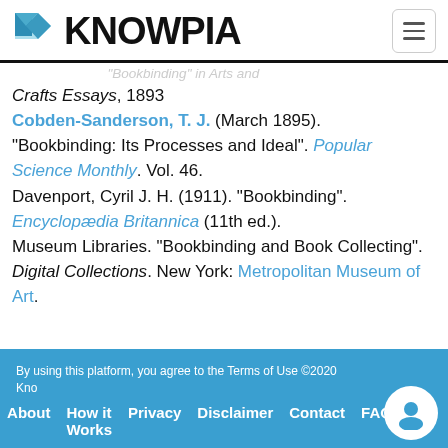KNOWPIA
Crafts Essays, 1893
Cobden-Sanderson, T. J. (March 1895). "Bookbinding: Its Processes and Ideal". Popular Science Monthly. Vol. 46.
Davenport, Cyril J. H. (1911). "Bookbinding". Encyclopædia Britannica (11th ed.).
Museum Libraries. "Bookbinding and Book Collecting". Digital Collections. New York: Metropolitan Museum of Art.
By using this platform, you agree to the Terms of Use ©2020 Knowpia
About   How it Works   Privacy   Disclaimer   Contact   FAQ